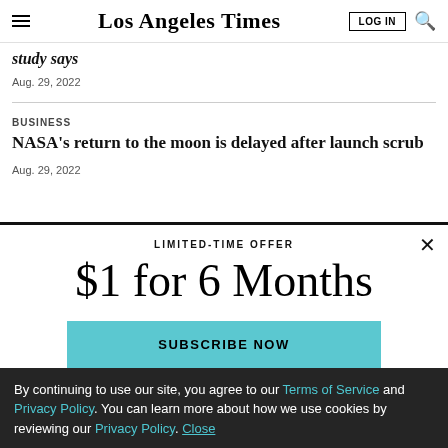Los Angeles Times
study says
Aug. 29, 2022
BUSINESS
NASA's return to the moon is delayed after launch scrub
Aug. 29, 2022
LIMITED-TIME OFFER
$1 for 6 Months
SUBSCRIBE NOW
By continuing to use our site, you agree to our Terms of Service and Privacy Policy. You can learn more about how we use cookies by reviewing our Privacy Policy. Close